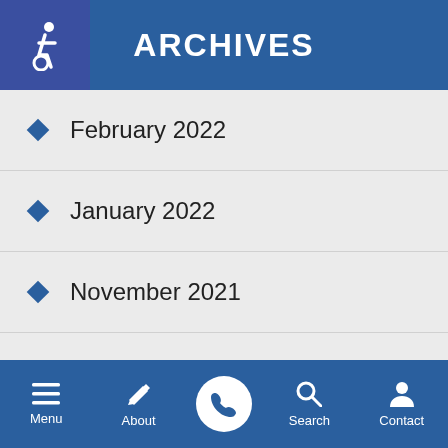ARCHIVES
February 2022
January 2022
November 2021
October 2021
September 2021
Menu  About  Search  Contact